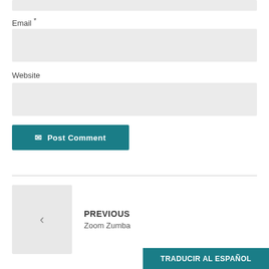Email *
Website
✈ Post Comment
PREVIOUS
Zoom Zumba
TRADUCIR AL ESPAÑOL